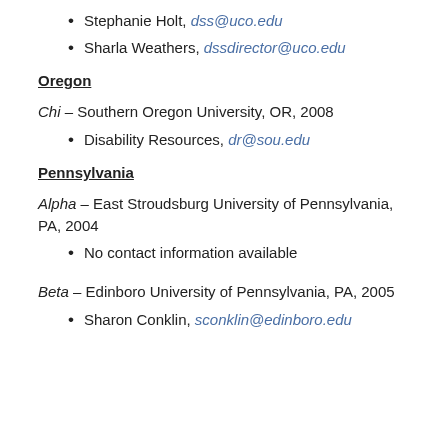Stephanie Holt, dss@uco.edu
Sharla Weathers, dssdirector@uco.edu
Oregon
Chi – Southern Oregon University, OR, 2008
Disability Resources, dr@sou.edu
Pennsylvania
Alpha – East Stroudsburg University of Pennsylvania, PA, 2004
No contact information available
Beta – Edinboro University of Pennsylvania, PA, 2005
Sharon Conklin, sconklin@edinboro.edu